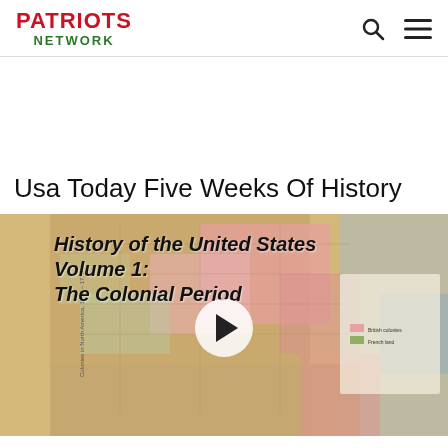PATRIOTS NETWORK
Usa Today Five Weeks Of History
[Figure (screenshot): Video thumbnail showing a historical map of colonial North America with the text 'History of the United States Volume 1: The Colonial Period' overlaid in bold italic, and a circular play button in the center.]